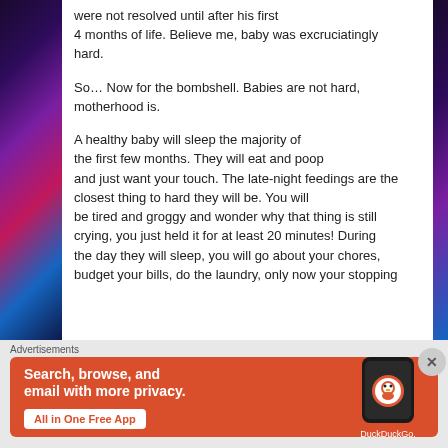were not resolved until after his first 4 months of life. Believe me, baby was excruciatingly hard.

So… Now for the bombshell. Babies are not hard, motherhood is.

A healthy baby will sleep the majority of the first few months. They will eat and poop and just want your touch. The late-night feedings are the closest thing to hard they will be. You will be tired and groggy and wonder why that thing is still crying, you just held it for at least 20 minutes! During the day they will sleep, you will go about your chores, budget your bills, do the laundry, only now your stopping
Advertisements
[Figure (infographic): DuckDuckGo advertisement banner. Orange background with white bold text: 'Search, browse, and email with more privacy.' White button reading 'All in One Free App' in red text. Right side shows a dark smartphone with DuckDuckGo logo and text.]